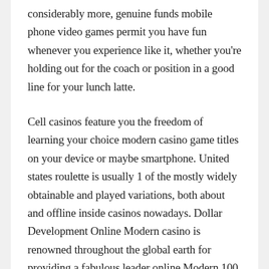considerably more, genuine funds mobile phone video games permit you have fun whenever you experience like it, whether you're holding out for the coach or position in a good line for your lunch latte.
Cell casinos feature you the freedom of learning your choice modern casino game titles on your device or maybe smartphone. United states roulette is usually 1 of the mostly widely obtainable and played variations, both about and offline inside casinos nowadays. Dollar Development Online Modern casino is renowned throughout the global earth for providing a fabulous leader online Modern 100 % free chips